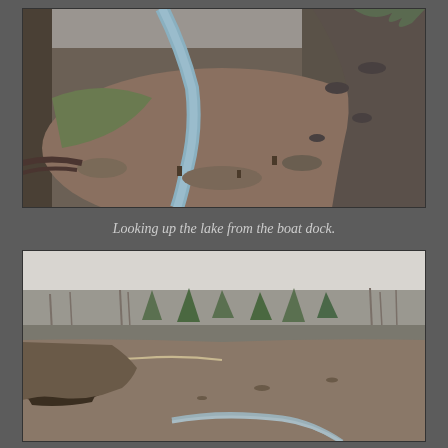[Figure (photo): A dried-up lake bed viewed from a boat dock. A narrow stream of water winds through exposed brown muddy terrain. Rocky and muddy banks are visible on both sides. Fallen logs and debris are scattered on the left side.]
Looking up the lake from the boat dock.
[Figure (photo): A dried-up lake bed showing exposed muddy ground with a thin stream of water. Pine and bare deciduous trees line the background under an overcast sky. Tree roots and fallen debris are prominent in the foreground on the left.]